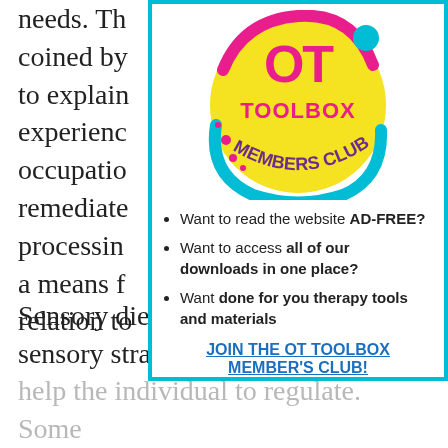needs. Th coined by to explain experienc occupatio remediate processin a means f relation to
[Figure (logo): OT Toolbox Members Club logo — circular yellow badge with pink and cyan accents, text reading TOOLBOX MEMBERS CLUB]
Want to read the website AD-FREE?
Want to access all of our downloads in one place?
Want done for you therapy tools and materials
JOIN THE OT TOOLBOX MEMBER'S CLUB!
Sensory diets can include various sensory strategies and supports that help the individual to regulate. Some